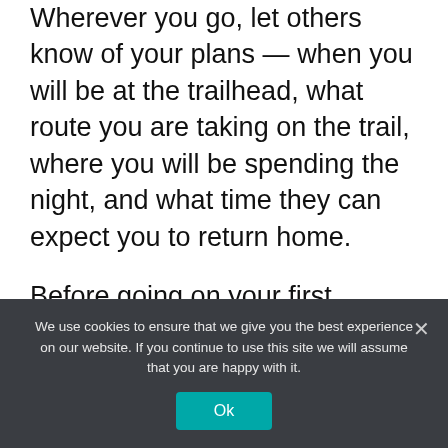Wherever you go, let others know of your plans — when you will be at the trailhead, what route you are taking on the trail, where you will be spending the night, and what time they can expect you to return home.
Before going on your first overnight, consider doing a shakedown hike of your gear. Load your pack with everything you plan on taking with you and do a day hike through a local park or state park. Walk a distance. Is the pack comfortable or too heavy? Take the gear out and try it to make sure it works and
We use cookies to ensure that we give you the best experience on our website. If you continue to use this site we will assume that you are happy with it.